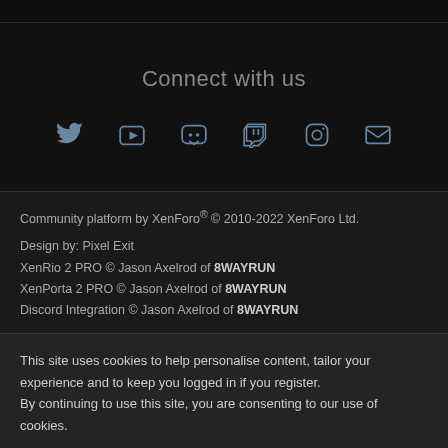Connect with us
[Figure (infographic): Social media icons: Twitter, YouTube, Discord, Twitch, Instagram, Email]
Community platform by XenForo® © 2010-2022 XenForo Ltd.
Design by: Pixel Exit
XenRio 2 PRO © Jason Axelrod of 8WAYRUN
XenPorta 2 PRO © Jason Axelrod of 8WAYRUN
Discord Integration © Jason Axelrod of 8WAYRUN
This site uses cookies to help personalise content, tailor your experience and to keep you logged in if you register.
By continuing to use this site, you are consenting to our use of cookies.
✓ ACCEPT   LEARN MORE...